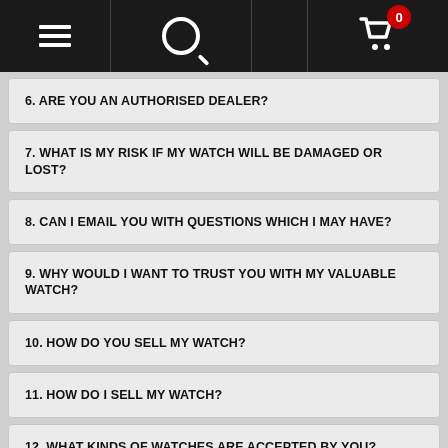Navigation bar with menu, search, and cart (0 items)
6. ARE YOU AN AUTHORISED DEALER?
7. WHAT IS MY RISK IF MY WATCH WILL BE DAMAGED OR LOST?
8. CAN I EMAIL YOU WITH QUESTIONS WHICH I MAY HAVE?
9. WHY WOULD I WANT TO TRUST YOU WITH MY VALUABLE WATCH?
10. HOW DO YOU SELL MY WATCH?
11. HOW DO I SELL MY WATCH?
12. WHAT KINDS OF WATCHES ARE ACCEPTED BY YOU?
13. HOW MUCH IS MY WATCH WORTH, OR HOW CAN I GET VALUATION FOR MY WATCH?